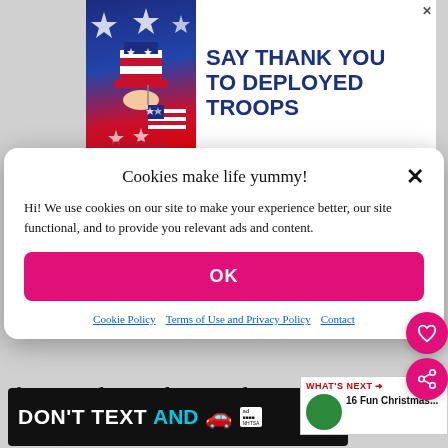[Figure (illustration): Advertisement banner: patriotic theme with Uncle Sam hat and American flag illustration. Text reads SAY THANK YOU TO DEPLOYED TROOPS]
Cookies make life yummy!
Hi! We use cookies on our site to make your experience better, our site functional, and to provide you relevant ads and content.
OK
Cookie Policy   Terms of Use and Privacy Policy   Contact
three to choose from and we kept
small so the girls could come back for more):
WHAT'S NEXT → 16 Fun Christmas...
[Figure (illustration): Advertisement banner: DON'T TEXT AND [car emoji] with NHTSA branding]